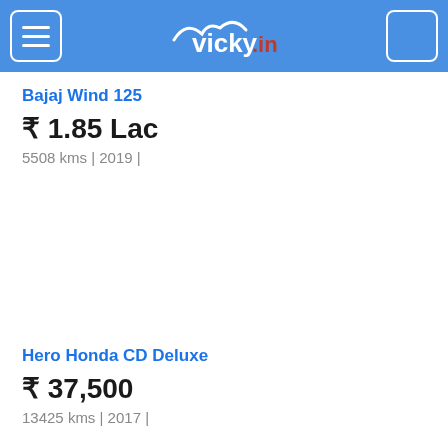vicky.in
Bajaj Wind 125
₹ 1.85 Lac
5508 kms | 2019 |
[Figure (photo): Vehicle listing image placeholder (empty)]
Hero Honda CD Deluxe
₹ 37,500
13425 kms | 2017 |